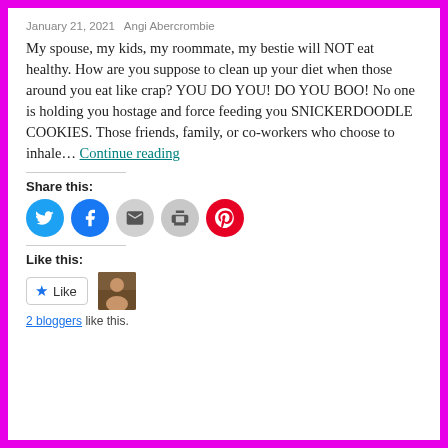January 21, 2021   Angi Abercrombie
My spouse, my kids, my roommate, my bestie will NOT eat healthy. How are you suppose to clean up your diet when those around you eat like crap? YOU DO YOU! DO YOU BOO! No one is holding you hostage and force feeding you SNICKERDOODLE COOKIES. Those friends, family, or co-workers who choose to inhale… Continue reading
Share this:
[Figure (infographic): Social share buttons: Twitter (blue), Facebook (blue), Email (gray), Print (gray), Pinterest (red)]
Like this:
[Figure (infographic): Like button with star icon, and a small avatar thumbnail]
2 bloggers like this.